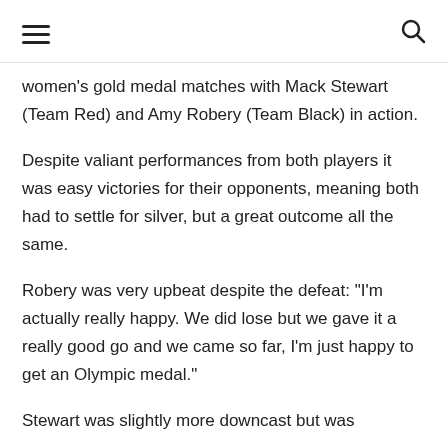[hamburger menu icon] [search icon]
women's gold medal matches with Mack Stewart (Team Red) and Amy Robery (Team Black) in action.
Despite valiant performances from both players it was easy victories for their opponents, meaning both had to settle for silver, but a great outcome all the same.
Robery was very upbeat despite the defeat: "I'm actually really happy. We did lose but we gave it a really good go and we came so far, I'm just happy to get an Olympic medal."
Stewart was slightly more downcast but was